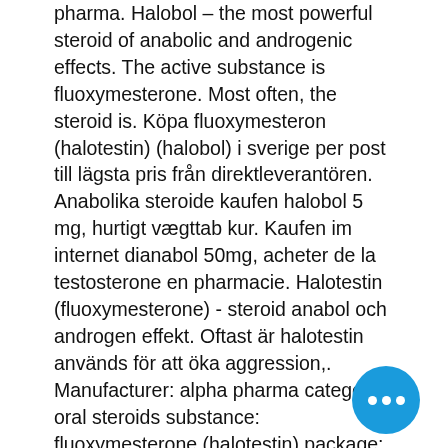pharma. Halobol – the most powerful steroid of anabolic and androgenic effects. The active substance is fluoxymesterone. Most often, the steroid is. Köpa fluoxymesteron (halotestin) (halobol) i sverige per post till lägsta pris från direktleverantören. Anabolika steroide kaufen halobol 5 mg, hurtigt vægttab kur. Kaufen im internet dianabol 50mg, acheter de la testosterone en pharmacie. Halotestin (fluoxymesterone) - steroid anabol och androgen effekt. Oftast är halotestin används för att öka aggression,. Manufacturer: alpha pharma category: oral steroids substance: fluoxymesterone (halotestin) package: 5mg (50 pills). Stanozolol 10mg x 100 tablets anabola steroider köpa halobol 5 mg,. Cart · product categories · product tags · genuine anabolic steroids · gymjuice. Org is a online pharmacy where you can purchase steroids. Buy halobol halotestin - 50 tablets 5mg - alpha pharma. authentic product available at the
[Figure (other): Blue circular chat bubble button with three white dots in the center, positioned at bottom right of the page.]